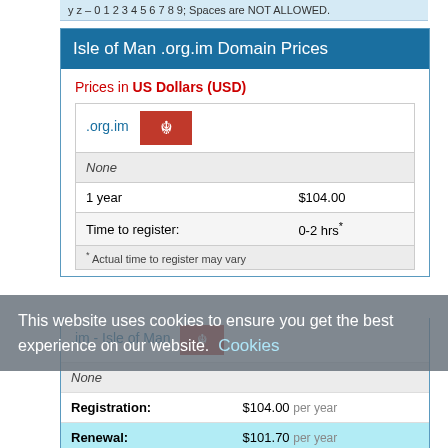y z – 0 1 2 3 4 5 6 7 8 9; Spaces are NOT ALLOWED.
Isle of Man .org.im Domain Prices
Prices in US Dollars (USD)
| .org.im |  |
| --- | --- |
| None |  |
| 1 year | $104.00 |
| Time to register: | 0-2 hrs* |
| * Actual time to register may vary |  |
| .im - Isle of Man |  |
| --- | --- |
| None |  |
| Registration: | $104.00 per year |
| Renewal: | $101.70 per year |
This website uses cookies to ensure you get the best experience on our website.  Cookies
| .co.im - Isle of Man |  |
| --- | --- |